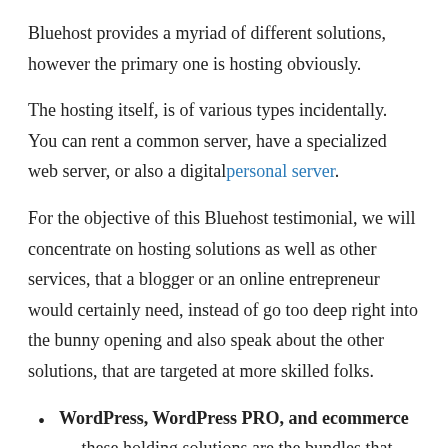Bluehost provides a myriad of different solutions, however the primary one is hosting obviously.
The hosting itself, is of various types incidentally. You can rent a common server, have a specialized web server, or also a digitalpersonal server.
For the objective of this Bluehost testimonial, we will concentrate on hosting solutions as well as other services, that a blogger or an online entrepreneur would certainly need, instead of go too deep right into the bunny opening and also speak about the other solutions, that are targeted at more skilled folks.
WordPress, WordPress PRO, and ecommerce— these holding solutions are the bundles that enable you to host a site utilizing WordPress and WooCommerce (the latter of which allows you to do ecommerce). After acquiring any one of these bundles, you can begin building your website with